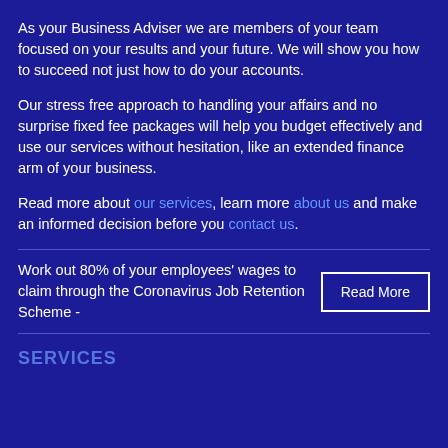As your Business Adviser we are members of your team focused on your results and your future. We will show you how to succeed not just how to do your accounts.
Our stress free approach to handling your affairs and no surprise fixed fee packages will help you budget effectively and use our services without hesitation, like an extended finance arm of your business.
Read more about our services, learn more about us and make an informed decision before you contact us.
Work out 80% of your employees' wages to claim through the Coronavirus Job Retention Scheme - Read More
SERVICES